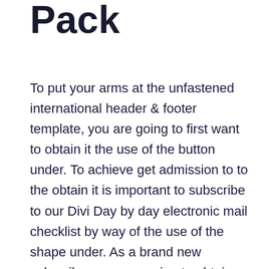Pack
To put your arms at the unfastened international header & footer template, you are going to first want to obtain it the use of the button under. To achieve get admission to to the obtain it is important to subscribe to our Divi Day by day electronic mail checklist by way of the use of the shape under. As a brand new subscriber, you are going to obtain much more Divi goodness and a unfastened Divi Format pack each Monday! If you happen to're already at the checklist, merely input your electronic mail deal with under and click on obtain. You're going to no